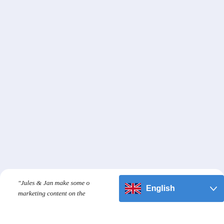"Jules & Jan make some of the best marketing content on the
[Figure (screenshot): Language selector widget showing UK flag and 'English' label with a chevron/dropdown arrow on a blue background]